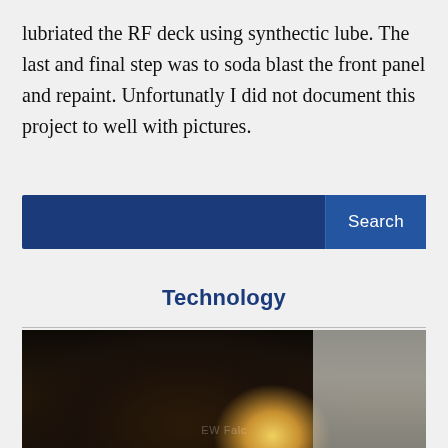lubriated the RF deck using synthectic lube. The last and final step was to soda blast the front panel and repaint. Unfortunatly I did not document this project to well with pictures.
[Figure (screenshot): Search bar widget with dark blue background and a 'Search' button on the right side]
Technology
[Figure (photo): A young boy studying or working at a desk illuminated by a lamp in a dark room, with a bright light source visible]